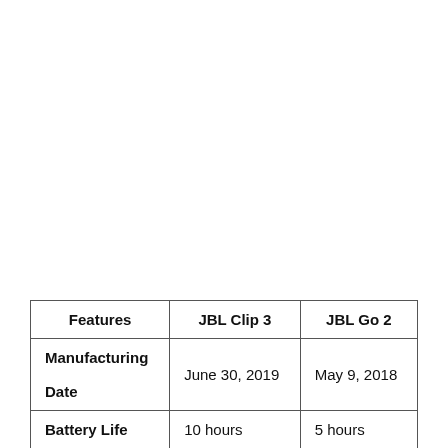| Features | JBL Clip 3 | JBL Go 2 |
| --- | --- | --- |
| Manufacturing Date | June 30, 2019 | May 9, 2018 |
| Battery Life | 10 hours | 5 hours |